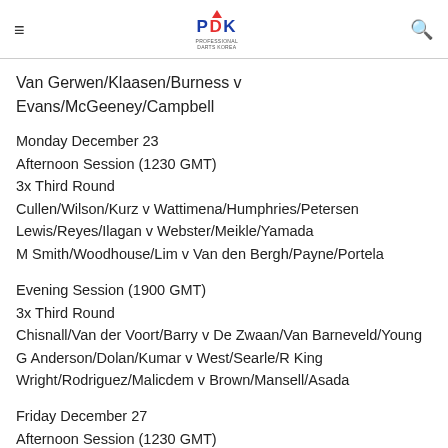PDK Professional Darts Korea
Van Gerwen/Klaasen/Burness v Evans/McGeeney/Campbell
Monday December 23
Afternoon Session (1230 GMT)
3x Third Round
Cullen/Wilson/Kurz v Wattimena/Humphries/Petersen
Lewis/Reyes/Ilagan v Webster/Meikle/Yamada
M Smith/Woodhouse/Lim v Van den Bergh/Payne/Portela
Evening Session (1900 GMT)
3x Third Round
Chisnall/Van der Voort/Barry v De Zwaan/Van Barneveld/Young
G Anderson/Dolan/Kumar v West/Searle/R King
Wright/Rodriguez/Malicdem v Brown/Mansell/Asada
Friday December 27
Afternoon Session (1230 GMT)